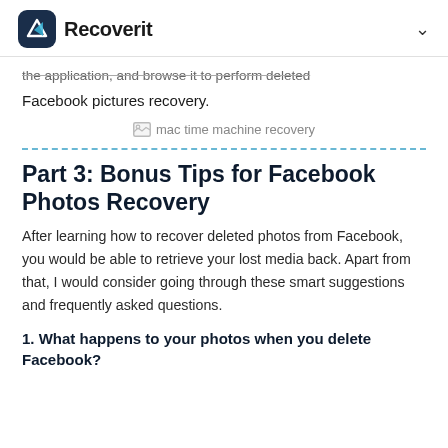Recoverit
the application, and browse it to perform deleted Facebook pictures recovery.
[Figure (photo): Broken image placeholder labeled 'mac time machine recovery']
Part 3: Bonus Tips for Facebook Photos Recovery
After learning how to recover deleted photos from Facebook, you would be able to retrieve your lost media back. Apart from that, I would consider going through these smart suggestions and frequently asked questions.
1. What happens to your photos when you delete Facebook?